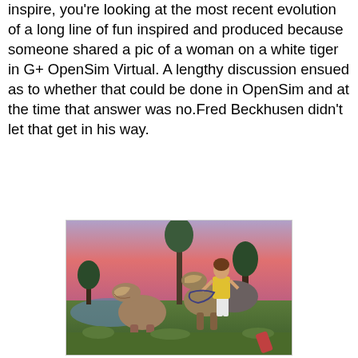inspire, you're looking at the most recent evolution of a long line of fun inspired and produced because someone shared a pic of a woman on a white tiger in G+ OpenSim Virtual. A lengthy discussion ensued as to whether that could be done in OpenSim and at the time that answer was no.Fred Beckhusen didn't let that get in his way.
[Figure (photo): A 3D virtual world scene (OpenSim) showing a female avatar riding or standing near two large dinosaur-like creatures with open mouths, in a landscape with trees, water, and a pink/purple sunset sky.]